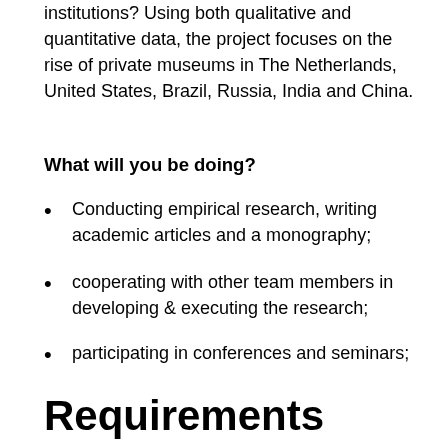institutions? Using both qualitative and quantitative data, the project focuses on the rise of private museums in The Netherlands, United States, Brazil, Russia, India and China.
What will you be doing?
Conducting empirical research, writing academic articles and a monography;
cooperating with other team members in developing & executing the research;
participating in conferences and seminars;
assisting in supervision of PhD candidates in the project.
Requirements